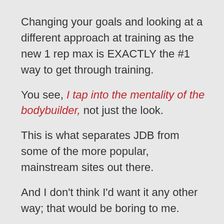Changing your goals and looking at a different approach at training as the new 1 rep max is EXACTLY the #1 way to get through training.
You see, I tap into the mentality of the bodybuilder, not just the look.
This is what separates JDB from some of the more popular, mainstream sites out there.
And I don't think I'd want it any other way; that would be boring to me.
STOP USING YOUR INJURY AS AN EXCUSE AND RISE UP!